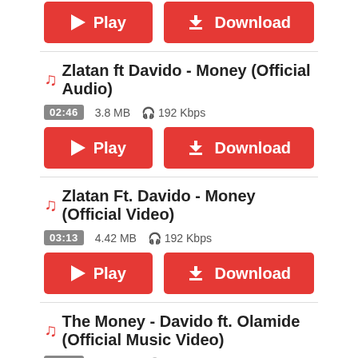[Figure (screenshot): Play and Download buttons at top of page (partial, cropped)]
Zlatan ft Davido - Money (Official Audio)
02:46   3.8 MB   192 Kbps
[Figure (screenshot): Play and Download buttons for Zlatan ft Davido - Money (Official Audio)]
Zlatan Ft. Davido - Money (Official Video)
03:13   4.42 MB   192 Kbps
[Figure (screenshot): Play and Download buttons for Zlatan Ft. Davido - Money (Official Video)]
The Money - Davido ft. Olamide (Official Music Video)
03:55   5.38 MB   192 Kbps